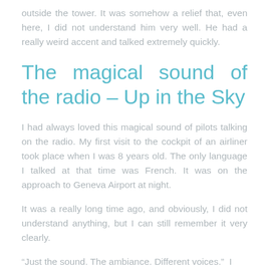outside the tower. It was somehow a relief that, even here, I did not understand him very well. He had a really weird accent and talked extremely quickly.
The magical sound of the radio – Up in the Sky
I had always loved this magical sound of pilots talking on the radio. My first visit to the cockpit of an airliner took place when I was 8 years old. The only language I talked at that time was French. It was on the approach to Geneva Airport at night.
It was a really long time ago, and obviously, I did not understand anything, but I can still remember it very clearly.
“Just the sound. The ambiance. Different voices.”  I